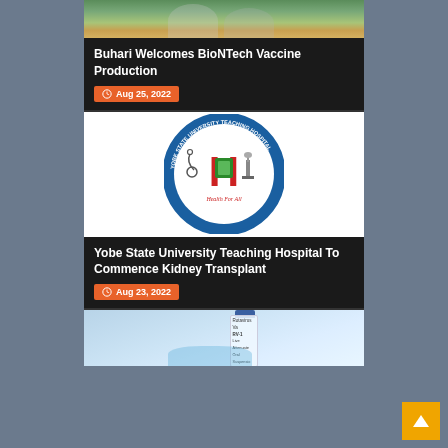[Figure (photo): Photo of people at top of page (partially visible), related to Buhari and BioNTech vaccine]
Buhari Welcomes BioNTech Vaccine Production
Aug 25, 2022
[Figure (logo): Yobe State University Teaching Hospital (YSUTH) circular logo with red H letter and stethoscope, text 'Health For All', Damaturu]
Yobe State University Teaching Hospital To Commence Kidney Transplant
Aug 23, 2022
[Figure (photo): Photo of a Rotavirus vaccine vial (RV-1 Live Attenuated Oral Suspension) held by gloved hand (partially visible at bottom)]